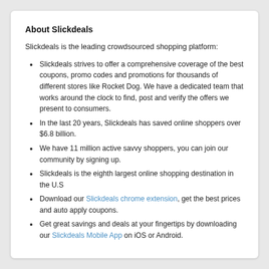About Slickdeals
Slickdeals is the leading crowdsourced shopping platform:
Slickdeals strives to offer a comprehensive coverage of the best coupons, promo codes and promotions for thousands of different stores like Rocket Dog. We have a dedicated team that works around the clock to find, post and verify the offers we present to consumers.
In the last 20 years, Slickdeals has saved online shoppers over $6.8 billion.
We have 11 million active savvy shoppers, you can join our community by signing up.
Slickdeals is the eighth largest online shopping destination in the U.S
Download our Slickdeals chrome extension, get the best prices and auto apply coupons.
Get great savings and deals at your fingertips by downloading our Slickdeals Mobile App on iOS or Android.